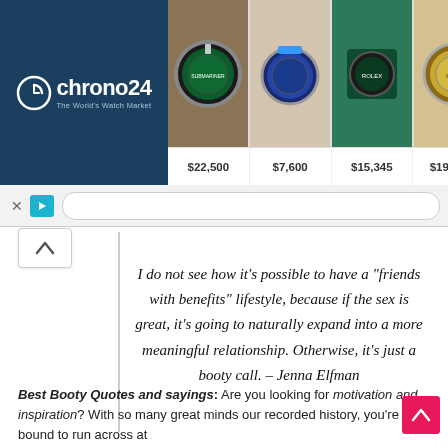[Figure (screenshot): Chrono24 advertisement banner with watch marketplace logo on dark blue background, four watch product images with prices: $22,500, $7,600, $15,345, $198,000]
I do not see how it’s possible to have a “friends with benefits” lifestyle, because if the sex is great, it’s going to naturally expand into a more meaningful relationship. Otherwise, it’s just a booty call. – Jenna Elfman
Best Booty Quotes and sayings: Are you looking for motivation and inspiration? With so many great minds our recorded history, you’re bound to run across at